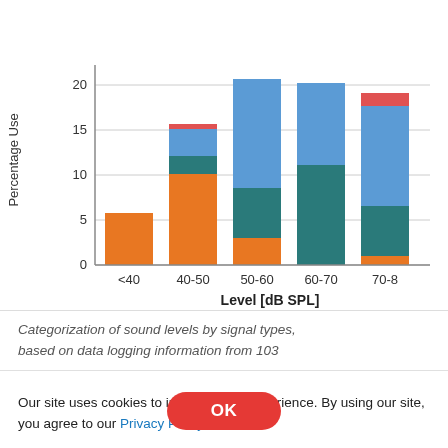[Figure (stacked-bar-chart): Categorization of sound levels by signal types]
Categorization of sound levels by signal types, based on data logging information from 103
Our site uses cookies to improve your experience. By using our site, you agree to our Privacy Policy.